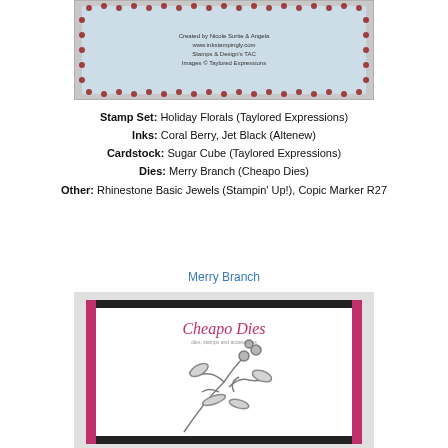[Figure (photo): Craft card with red and white doily-style border pattern and light blue center, showing handmade greeting card]
Stamp Set: Holiday Florals (Taylored Expressions)
Inks: Coral Berry, Jet Black (Altenew)
Cardstock: Sugar Cube (Taylored Expressions)
Dies: Merry Branch (Cheapo Dies)
Other: Rhinestone Basic Jewels (Stampin' Up!), Copic Marker R27
Merry Branch
[Figure (photo): Cheapo Dies product packaging showing the Merry Branch die set with decorative branch and leaf design on grey background with pink and black border]